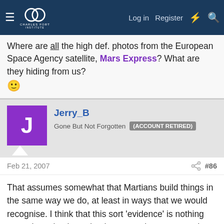Charles Fort Institute — navigation bar with Log in, Register links
Where are all the high def. photos from the European Space Agency satellite, Mars Express? What are they hiding from us? 😊
Jerry_B — Gone But Not Forgotten (ACCOUNT RETIRED)
Feb 21, 2007  #86
That assumes somewhat that Martians build things in the same way we do, at least in ways that we would recognise. I think that this sort 'evidence' is nothing more than simulacra (and at many times removed from the object itself). First we had 'canals', now we have 'structures', etc..
This site uses cookies to help personalise content, tailor your experience and to keep you logged in if you register. By continuing to use this site, you are consenting to our use of cookies.